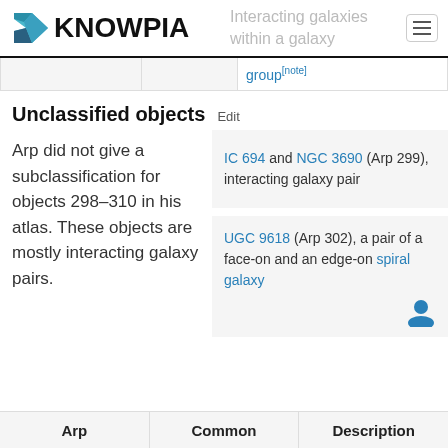KNOWPIA — Interacting galaxies within a galaxy group
|  |  | group[note] |
| --- | --- | --- |
|  |
Unclassified objects Edit
Arp did not give a subclassification for objects 298–310 in his atlas. These objects are mostly interacting galaxy pairs.
IC 694 and NGC 3690 (Arp 299), interacting galaxy pair
UGC 9618 (Arp 302), a pair of a face-on and an edge-on spiral galaxy
| Arp | Common | Description |
| --- | --- | --- |